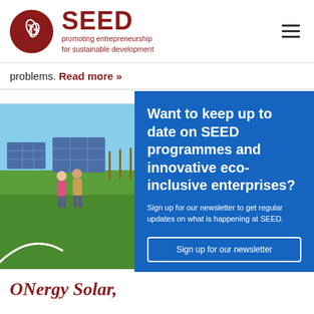SEED — promoting entrepreneurship for sustainable development
problems. Read more »
[Figure (photo): Two people standing in a green field next to solar panels under a blue sky]
Want to keep up to date on SEED programmes and innovative eco-inclusive enterprises? Sign up for our newsletter to get regular updates on what is happening at SEED.
Sign up for our newsletter
ONergy Solar,